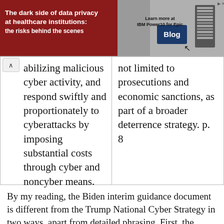[Figure (other): Advertisement banner: dark red background with white bold text 'The dark side of data privacy at healthcare institutions: the risks behind the scenes', a person holding a laptop, server rack image, and IBM Power10 for Epic Blog button on right side]
abilizing malicious cyber activity, and respond swiftly and proportionately to cyberattacks by imposing substantial costs through cyber and noncyber means.
not limited to prosecutions and economic sanctions, as part of a broader deterrence strategy. p. 8
By my reading, the Biden interim guidance document is different from the Trump National Cyber Strategy in two ways, apart from detailed phrasing. First, the Biden document emphasizes the importance of diversity in the national talent base for cyber, whereas the Trump document is silent on the matter. Second, the Biden